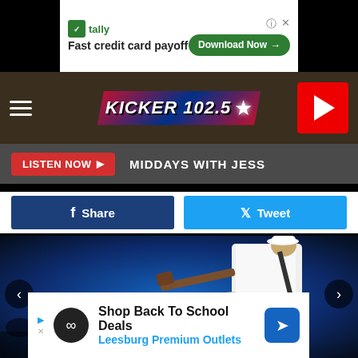[Figure (screenshot): Tally advertisement banner: Fast credit card payoff with Download Now button]
[Figure (logo): Kicker 102.5 radio station logo with navigation bar, hamburger menu, and red play button]
LISTEN NOW ▶  MIDDAYS WITH JESS
[Figure (screenshot): Facebook Share button and Twitter Tweet button]
[Figure (photo): Concert photo of a guitarist on stage with blue stage lighting and audience members holding up phones]
[Figure (screenshot): Shop Back To School Deals - Leesburg Premium Outlets advertisement banner]